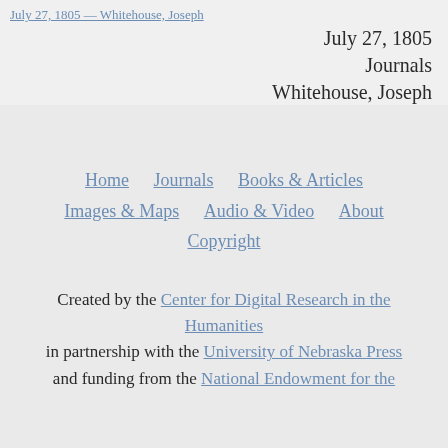July 27, 1805 — Whitehouse, Joseph
July 27, 1805
Journals
Whitehouse, Joseph
Home   Journals   Books & Articles   Images & Maps   Audio & Video   About   Copyright
Created by the Center for Digital Research in the Humanities in partnership with the University of Nebraska Press and funding from the National Endowment for the